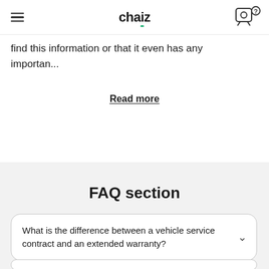chaiz
find this information or that it even has any importan...
Read more
FAQ section
What is the difference between a vehicle service contract and an extended warranty?